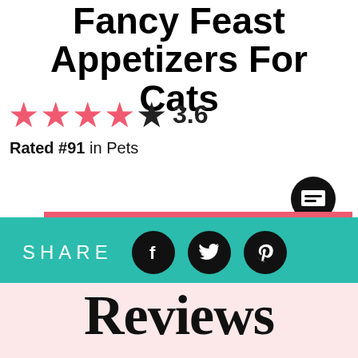Fancy Feast Appetizers For Cats
★★★★★ 3.6
Rated #91 in Pets
[Figure (infographic): Black speech bubble comment icon with count 25]
REVIEW THIS ITEM
BUY ON (Amazon logo)
SHARE (Facebook, Twitter, Pinterest icons)
Reviews